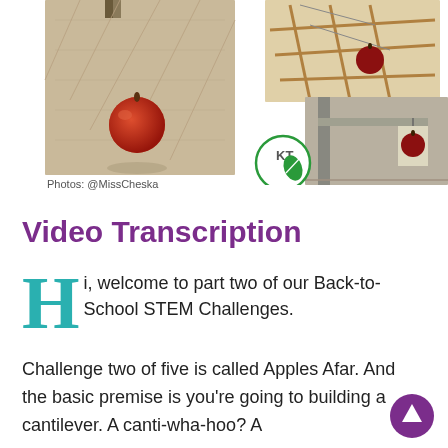[Figure (photo): Three photos showing student STEM projects: a sling/pouch holding an apple, a wooden structure with apple, and a cantilever structure with apple. KT logo visible.]
Photos: @MissCheska
Video Transcription
Hi, welcome to part two of our Back-to-School STEM Challenges.
Challenge two of five is called Apples Afar. And the basic premise is you're going to building a cantilever. A canti-wha-hoo? A